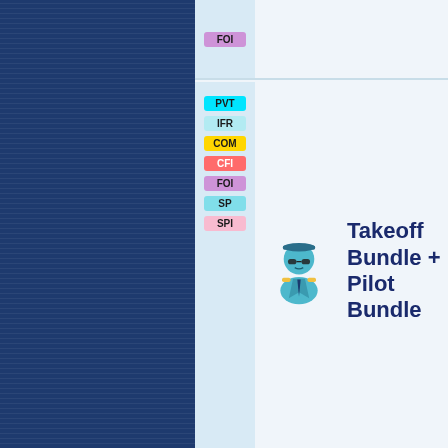[Figure (infographic): Dark navy blue striped left panel background]
FOI badge tag
[Figure (infographic): Pilot bundle section with PVT, IFR, COM, CFI, FOI, SP, SPI badges and pilot emoji icon]
Takeoff Bundle + Pilot Bundle
[Figure (infographic): FlightLevel Bundle section with ATP, FE badges and pilot emoji icon]
FlightLevel Bund...
[Figure (infographic): Pro Pilot Bundle section with PVT, IFR, COM, CFI, FOI, ATP, FE badges and pilot emoji icon]
Pro Pilot Bundle
PVT, IFR badges at bottom